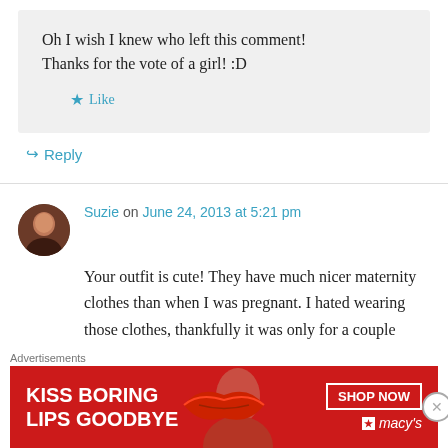Oh I wish I knew who left this comment! Thanks for the vote of a girl! :D
Like
Reply
Suzie on June 24, 2013 at 5:21 pm
Your outfit is cute! They have much nicer maternity clothes than when I was pregnant. I hated wearing those clothes, thankfully it was only for a couple months. I couldn't get rid of them fast enough...lol! ;) I craved cherry
Advertisements
[Figure (photo): Macy's advertisement banner: 'KISS BORING LIPS GOODBYE' with SHOP NOW button and Macy's logo]